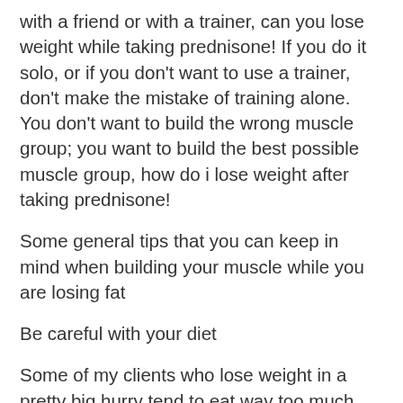with a friend or with a trainer, can you lose weight while taking prednisone! If you do it solo, or if you don't want to use a trainer, don't make the mistake of training alone. You don't want to build the wrong muscle group; you want to build the best possible muscle group, how do i lose weight after taking prednisone!
Some general tips that you can keep in mind when building your muscle while you are losing fat
Be careful with your diet
Some of my clients who lose weight in a pretty big hurry tend to eat way too much, and this isn't always a good thing, do sarms cause weight loss.